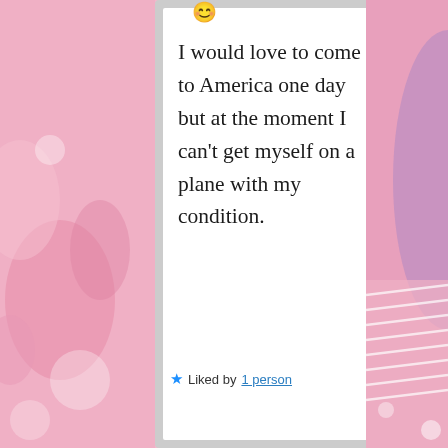[Figure (screenshot): Pink decorative background with swirl patterns on left side]
I would love to come to America one day but at the moment I can't get myself on a plane with my condition.
★ Liked by 1 person